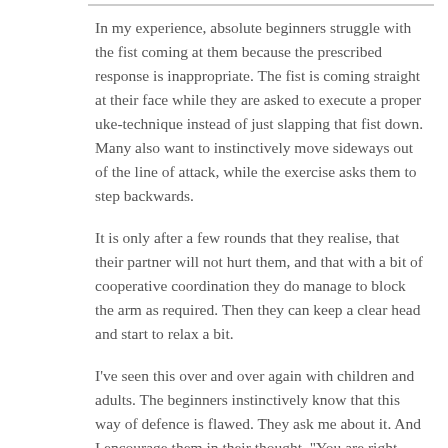In my experience, absolute beginners struggle with the fist coming at them because the prescribed response is inappropriate. The fist is coming straight at their face while they are asked to execute a proper uke-technique instead of just slapping that fist down. Many also want to instinctively move sideways out of the line of attack, while the exercise asks them to step backwards.
It is only after a few rounds that they realise, that their partner will not hurt them, and that with a bit of cooperative coordination they do manage to block the arm as required. Then they can keep a clear head and start to relax a bit.
I've seen this over and over again with children and adults. The beginners instinctively know that this way of defence is flawed. They ask me about it. And I encourage them in their thought. "You are right, that would be a better way of defending, and we train that way too. But this exercise is not about defence. It it about a coordinated partner work...